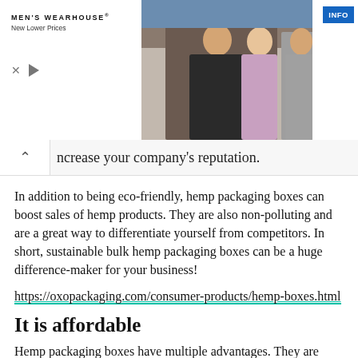[Figure (advertisement): Men's Wearhouse advertisement banner showing a couple in formal wear and a man in a grey suit, with 'MEN'S WEARHOUSE New Lower Prices' text on the left and an INFO button on the right]
ncrease your company's reputation.
In addition to being eco-friendly, hemp packaging boxes can boost sales of hemp products. They are also non-polluting and are a great way to differentiate yourself from competitors. In short, sustainable bulk hemp packaging boxes can be a huge difference-maker for your business!
https://oxopackaging.com/consumer-products/hemp-boxes.html
It is affordable
Hemp packaging boxes have multiple advantages. They are strong and durable, making them perfect for